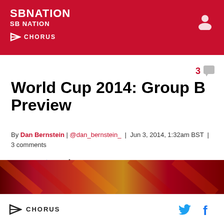SBNATION / SB NATION
[Figure (logo): Chorus logo in white on red header background]
[Figure (other): User account icon in white on red background]
3 comments
World Cup 2014: Group B Preview
By Dan Bernstein | @dan_bernstein_ | Jun 3, 2014, 1:32am BST | 3 comments
[Figure (infographic): Social share buttons: Facebook, Twitter, Share]
[Figure (photo): Colorful image strip showing flags/sports imagery in red and orange tones]
Chorus  [Twitter icon]  [Facebook icon]